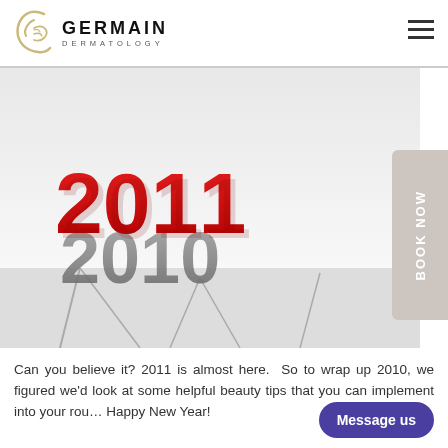GERMAIN DERMATOLOGY
[Figure (illustration): 3D illustration of large red '2011' numerals breaking through and rising above cracking grey '2010' numerals on a white surface with cracks]
Can you believe it? 2011 is almost here.  So to wrap up 2010, we figured we'd look at some helpful beauty tips that you can implement into your rou… Happy New Year!